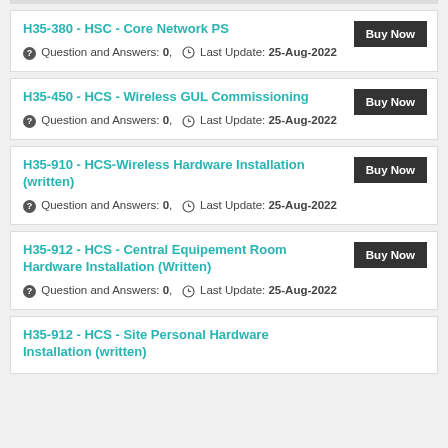H35-380 - HSC - Core Network PS | Question and Answers: 0, Last Update: 25-Aug-2022
H35-450 - HCS - Wireless GUL Commissioning | Question and Answers: 0, Last Update: 25-Aug-2022
H35-910 - HCS-Wireless Hardware Installation (written) | Question and Answers: 0, Last Update: 25-Aug-2022
H35-912 - HCS - Central Equipement Room Hardware Installation (Written) | Question and Answers: 0, Last Update: 25-Aug-2022
H35-912 - HCS - Site Personal Hardware Installation (written)